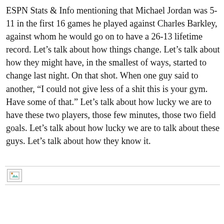ESPN Stats & Info mentioning that Michael Jordan was 5-11 in the first 16 games he played against Charles Barkley, against whom he would go on to have a 26-13 lifetime record. Let’s talk about how things change. Let’s talk about how they might have, in the smallest of ways, started to change last night. On that shot. When one guy said to another, “I could not give less of a shit this is your gym. Have some of that.” Let’s talk about how lucky we are to have these two players, those few minutes, those two field goals. Let’s talk about how lucky we are to talk about these guys. Let’s talk about how they know it.
[Figure (other): Broken image placeholder icon with green arrow]